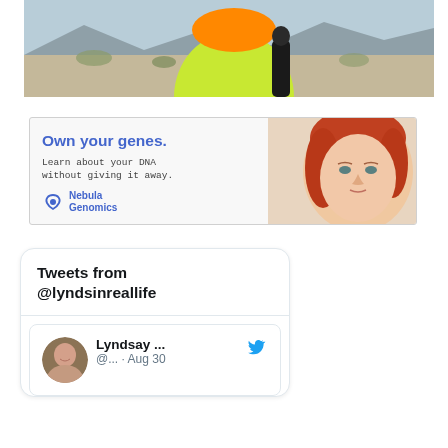[Figure (photo): Photo of a person standing next to a large yellow-green sculptural rock in a desert landscape with mountains in the background. The rock has an orange top portion.]
[Figure (photo): Advertisement for Nebula Genomics. Text reads: 'Own your genes. Learn about your DNA without giving it away.' with Nebula Genomics logo. Features a close-up photo of a red-haired woman's face.]
Tweets from @lyndsinreallife
[Figure (screenshot): Twitter widget showing tweets from @lyndsinreallife. First tweet shows user Lyndsay... @... · Aug 30 with profile photo.]